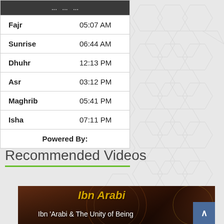|  |  |
| --- | --- |
| Fajr | 05:07 AM |
| Sunrise | 06:44 AM |
| Dhuhr | 12:13 PM |
| Asr | 03:12 PM |
| Maghrib | 05:41 PM |
| Isha | 07:11 PM |
| Powered By: |  |
Recommended Videos
[Figure (screenshot): Video thumbnail for 'Ibn Arabi & The Unity of Being' with decorative Islamic art background and text overlay]